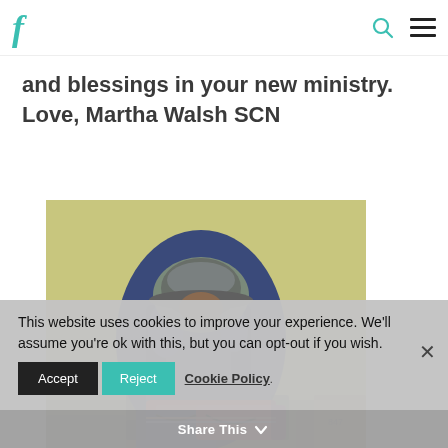F [logo] [search icon] [menu icon]
and blessings in your new ministry. Love, Martha Walsh SCN
[Figure (photo): Person hunched over, wearing a blue jacket and grey hat, surrounded by colorful bundled belongings, sitting against a yellowish wall — appears to be a homeless individual.]
This website uses cookies to improve your experience. We'll assume you're ok with this, but you can opt-out if you wish.
Accept  Reject  Cookie Policy  Share This  ✕